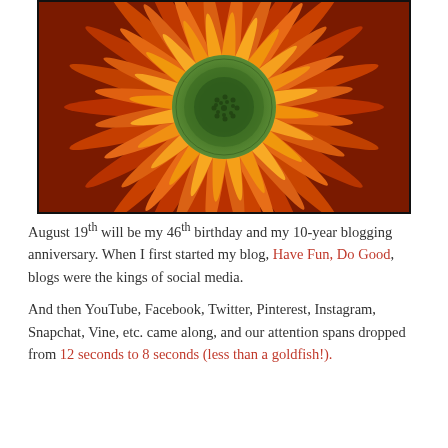[Figure (photo): Close-up macro photograph of an orange gerbera daisy flower with a green center, showing dense petals radiating outward]
August 19th will be my 46th birthday and my 10-year blogging anniversary. When I first started my blog, Have Fun, Do Good, blogs were the kings of social media.
And then YouTube, Facebook, Twitter, Pinterest, Instagram, Snapchat, Vine, etc. came along, and our attention spans dropped from 12 seconds to 8 seconds (less than a goldfish!).